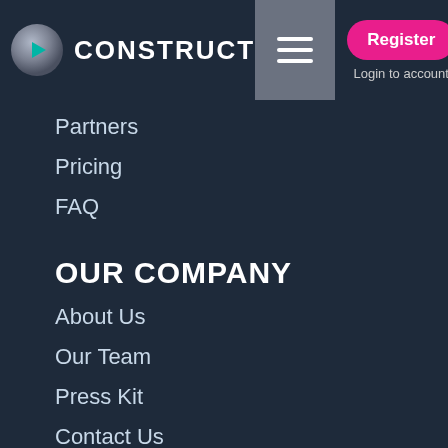[Figure (logo): Construct logo - stylized C with teal triangle arrow inside a metallic circle, followed by CONSTRUCT text in white]
Register | Login to account
Partners
Pricing
FAQ
OUR COMPANY
About Us
Our Team
Press Kit
Contact Us
COMMUNITY
Game Assets